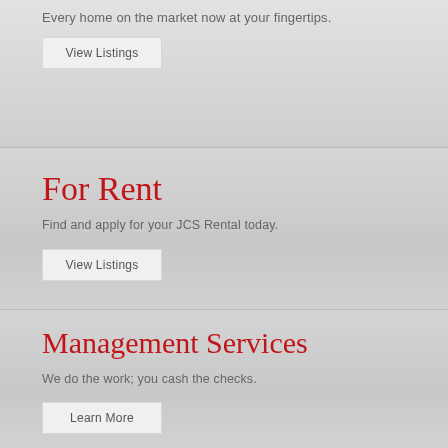Every home on the market now at your fingertips.
View Listings
For Rent
Find and apply for your JCS Rental today.
View Listings
Management Services
We do the work; you cash the checks.
Learn More